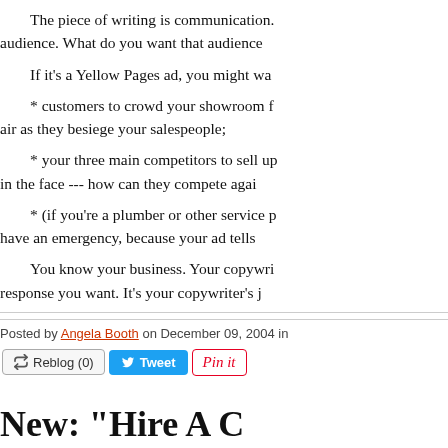The piece of writing is communication. audience. What do you want that audience
If it's a Yellow Pages ad, you might wa
* customers to crowd your showroom f air as they besiege your salespeople;
* your three main competitors to sell up in the face --- how can they compete agai
* (if you're a plumber or other service p have an emergency, because your ad tells
You know your business. Your copywri response you want. It's your copywriter's j
Posted by Angela Booth on December 09, 2004 in
Reblog (0)  Tweet  Pin it
New: "Hire A C